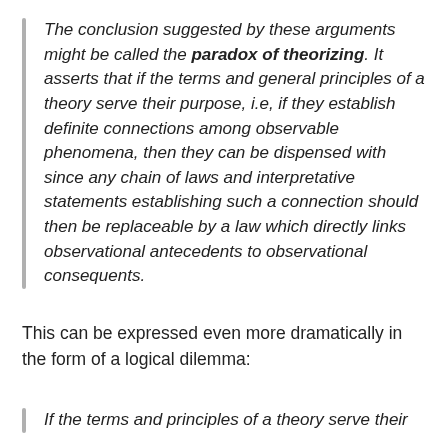The conclusion suggested by these arguments might be called the paradox of theorizing. It asserts that if the terms and general principles of a theory serve their purpose, i.e, if they establish definite connections among observable phenomena, then they can be dispensed with since any chain of laws and interpretative statements establishing such a connection should then be replaceable by a law which directly links observational antecedents to observational consequents.
This can be expressed even more dramatically in the form of a logical dilemma:
If the terms and principles of a theory serve their